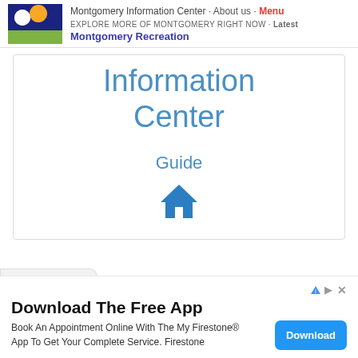Montgomery Information Center · About us · Menu
EXPLORE MORE OF MONTGOMERY RIGHT NOW · Latest
Montgomery Recreation
Information Center
Guide
[Figure (illustration): Blue house/home icon]
[Figure (illustration): Chevron/down arrow in a gray rounded rectangle tab]
Download The Free App
Book An Appointment Online With The My Firestone® App To Get Your Complete Service. Firestone
Download